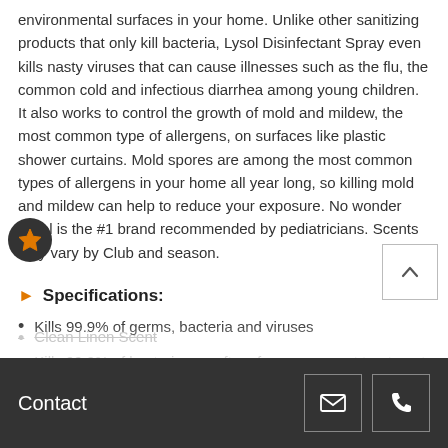environmental surfaces in your home. Unlike other sanitizing products that only kill bacteria, Lysol Disinfectant Spray even kills nasty viruses that can cause illnesses such as the flu, the common cold and infectious diarrhea among young children. It also works to control the growth of mold and mildew, the most common type of allergens, on surfaces like plastic shower curtains. Mold spores are among the most common types of allergens in your home all year long, so killing mold and mildew can help to reduce your exposure. No wonder Lysol is the #1 brand recommended by pediatricians. Scents may vary by Club and season.
Specifications:
Kills 99.9% of germs, bacteria and viruses
Kills 99.9% of bacteria on soft surfaces as a spot treatment
Kills 99.9% of odor-causing bacteria
Use in every room of your home, every day
Clean Linen Scent